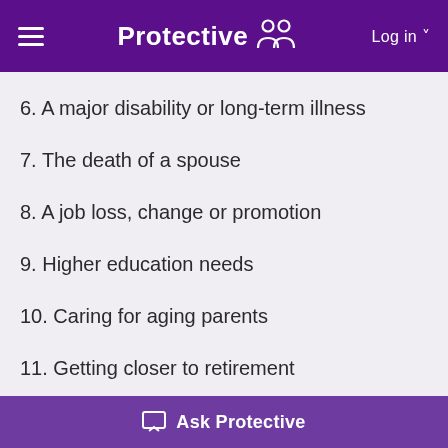Protective  Log in
6. A major disability or long-term illness
7. The death of a spouse
8. A job loss, change or promotion
9. Higher education needs
10. Caring for aging parents
11. Getting closer to retirement
12. A reduction in health insurance benefits
Ask Protective